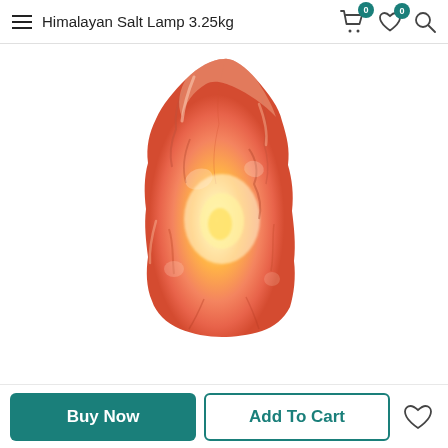Himalayan Salt Lamp 3.25kg
[Figure (photo): A glowing Himalayan salt lamp, natural rough rock crystal in pink-orange color with warm yellow light emanating from inside, shown on white background.]
Buy Now
Add To Cart